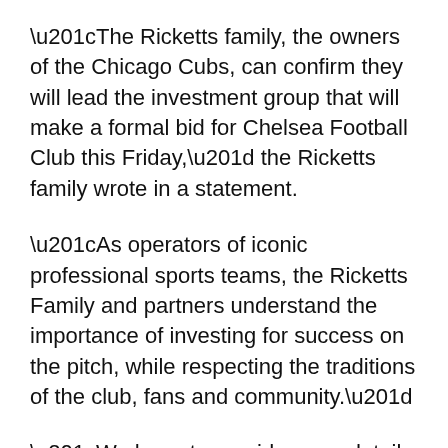“The Ricketts family, the owners of the Chicago Cubs, can confirm they will lead the investment group that will make a formal bid for Chelsea Football Club this Friday,” the Ricketts family wrote in a statement.
“As operators of iconic professional sports teams, the Ricketts Family and partners understand the importance of investing for success on the pitch, while respecting the traditions of the club, fans and community.”
“We hope to provide more details regarding our plans in due course.”
The Ricketts are not the only potential